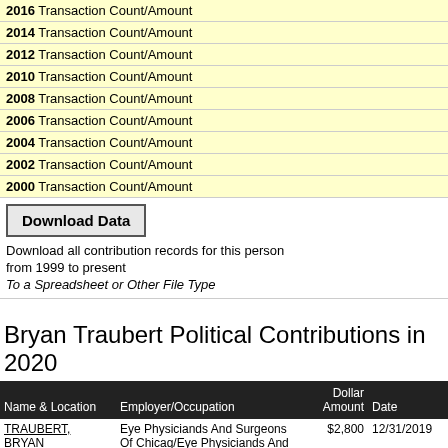2016 Transaction Count/Amount
2014 Transaction Count/Amount
2012 Transaction Count/Amount
2010 Transaction Count/Amount
2008 Transaction Count/Amount
2006 Transaction Count/Amount
2004 Transaction Count/Amount
2002 Transaction Count/Amount
2000 Transaction Count/Amount
Download Data
Download all contribution records for this person from 1999 to present
To a Spreadsheet or Other File Type
Bryan Traubert Political Contributions in 2020
| Name & Location | Employer/Occupation | Dollar Amount | Date |
| --- | --- | --- | --- |
| TRAUBERT, BRYAN
CHICAGO, IL 60614 | Eye Physiciands And Surgeons Of Chicag/Eye Physiciands And Surgeons Of Chicag/Physician | $2,800 | 12/31/2019 |
| TRAUBERT, |  |  |  |